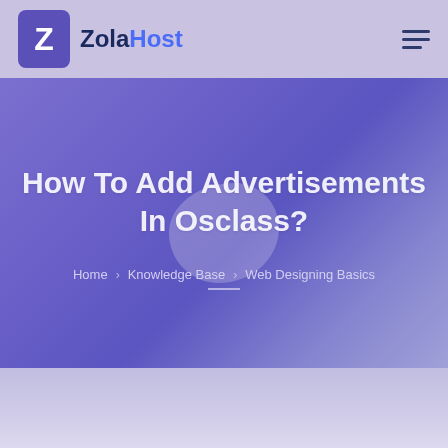[Figure (logo): ZolaHost logo with Z icon and brand name in header]
How To Add Advertisements In Osclass?
Home > Knowledge Base > Web Designing Basics